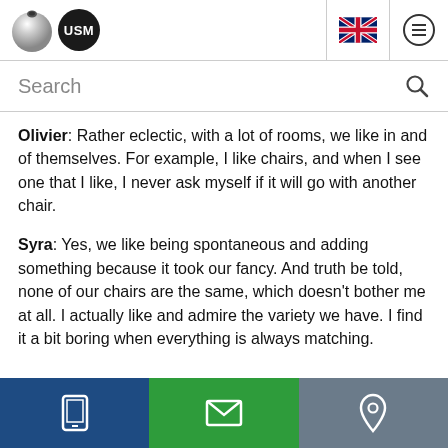[Figure (logo): USM logo with metallic ball and black circle with USM text, plus UK flag and hamburger menu icons in header]
Search
Olivier: Rather eclectic, with a lot of rooms, we like in and of themselves. For example, I like chairs, and when I see one that I like, I never ask myself if it will go with another chair.
Syra: Yes, we like being spontaneous and adding something because it took our fancy. And truth be told, none of our chairs are the same, which doesn't bother me at all. I actually like and admire the variety we have. I find it a bit boring when everything is always matching.
[Figure (screenshot): Footer bar with three sections: blue (mobile icon), green (email icon), gray (location pin icon)]